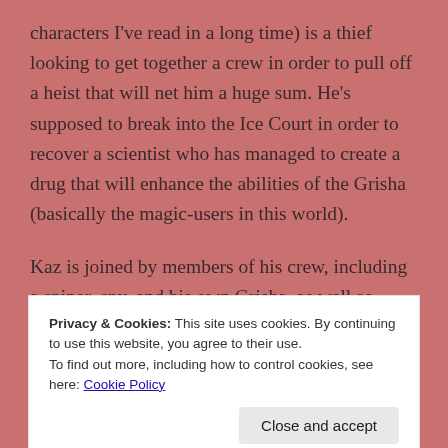characters I've read in a long time) is a thief looking to get together a crew in order to pull off a heist that will net him a huge sum. He's supposed to break into the Ice Court in order to recover a scientist who has managed to create a drug that will enhance the abilities of the Grisha (basically the magic-users in this world).
Kaz is joined by members of his crew, including a sniper, spy, and his own Grisha, as well as others.
Privacy & Cookies: This site uses cookies. By continuing to use this website, you agree to their use.
To find out more, including how to control cookies, see here: Cookie Policy
backstories, complicated relationships, and action